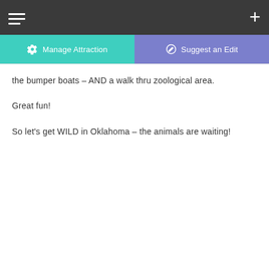Manage Attraction | Suggest an Edit
the bumper boats – AND a walk thru zoological area.

Great fun!

So let's get WILD in Oklahoma – the animals are waiting!